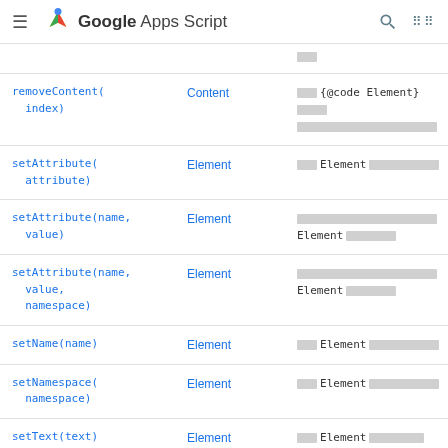Google Apps Script
| Method | Return type | Brief description |
| --- | --- | --- |
| removeContent(index) | Content | removes {@code Element} (redacted) |
| setAttribute(attribute) | Element | set Element (redacted) |
| setAttribute(name, value) | Element | (redacted) Element (redacted) |
| setAttribute(name, value, namespace) | Element | (redacted) Element (redacted) |
| setName(name) | Element | set Element (redacted) |
| setNamespace(namespace) | Element | set Element (redacted) |
| setText(text) | Element | set Element (redacted) |